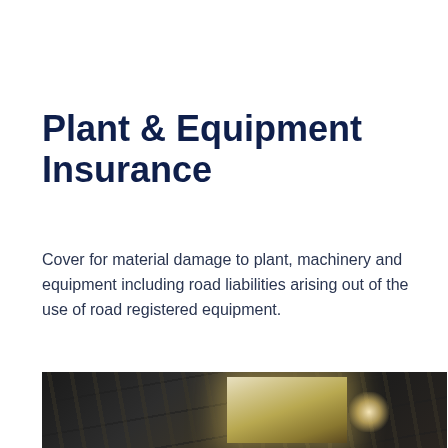Plant & Equipment Insurance
Cover for material damage to plant, machinery and equipment including road liabilities arising out of the use of road registered equipment.
[Figure (photo): Industrial interior photograph showing steel structure beams, machinery in a factory or warehouse setting with overhead lighting and large bright panel visible on the right side.]